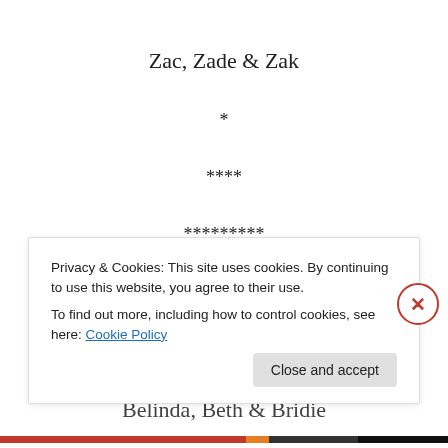Zac, Zade & Zak
*
****
*********
GIRLS
Alexia, Autumn & Avelina
Belinda, Beth & Bridie
Privacy & Cookies: This site uses cookies. By continuing to use this website, you agree to their use.
To find out more, including how to control cookies, see here: Cookie Policy
Close and accept